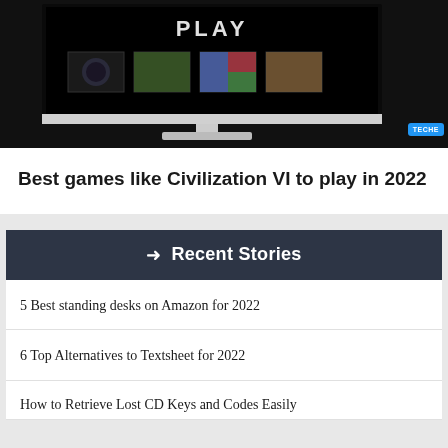[Figure (screenshot): Screenshot of a computer monitor on dark background showing a game-like interface with 'PLAY' text and thumbnail images, with a TECHE badge in the bottom right corner]
Best games like Civilization VI to play in 2022
➜ Recent Stories
5 Best standing desks on Amazon for 2022
6 Top Alternatives to Textsheet for 2022
How to Retrieve Lost CD Keys and Codes Easily